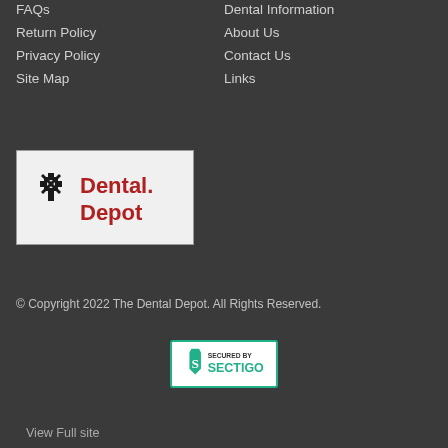FAQs
Return Policy
Privacy Policy
Site Map
Dental Information
About Us
Contact Us
Links
[Figure (logo): Dental Depot logo with red text and black snowflake/cross icon on white background]
© Copyright 2022 The Dental Depot. All Rights Reserved.
[Figure (logo): Secured by Sectigo badge with green S shield icon]
View Full site